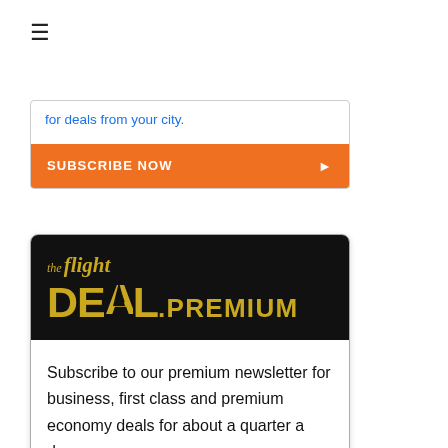≡
for deals from your city.
SUBSCRIBE NOW ▶
[Figure (logo): The Flight Deal Premium logo — black background with gold text reading 'the flight DEAL.PREMIUM']
Subscribe to our premium newsletter for business, first class and premium economy deals for about a quarter a day.
SUBSCRIBE NOW ▶